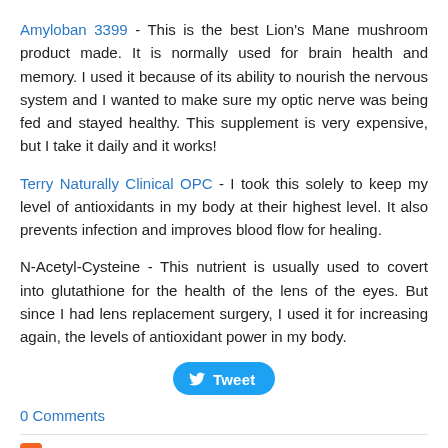Amyloban 3399 - This is the best Lion's Mane mushroom product made. It is normally used for brain health and memory. I used it because of its ability to nourish the nervous system and I wanted to make sure my optic nerve was being fed and stayed healthy. This supplement is very expensive, but I take it daily and it works!
Terry Naturally Clinical OPC - I took this solely to keep my level of antioxidants in my body at their highest level. It also prevents infection and improves blood flow for healing.
N-Acetyl-Cysteine - This nutrient is usually used to covert into glutathione for the health of the lens of the eyes. But since I had lens replacement surgery, I used it for increasing again, the levels of antioxidant power in my body.
Tweet button
0 Comments
RSS Feed